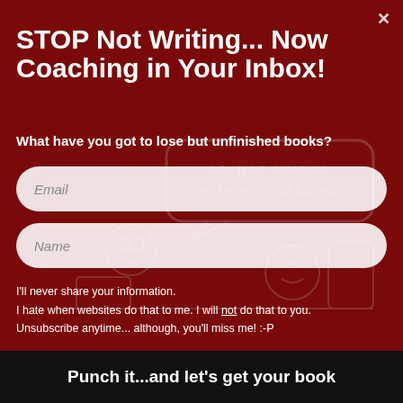STOP Not Writing... Now Coaching in Your Inbox!
What have you got to lose but unfinished books?
[Figure (illustration): Background illustration showing cartoon characters at a desk with speech bubble saying SO, NOT WRITING ANYTHING INTERESTING?]
Email
Name
I'll never share your information.
I hate when websites do that to me. I will not do that to you.
Unsubscribe anytime... although, you'll miss me! :-P
Punch it...and let's get your book